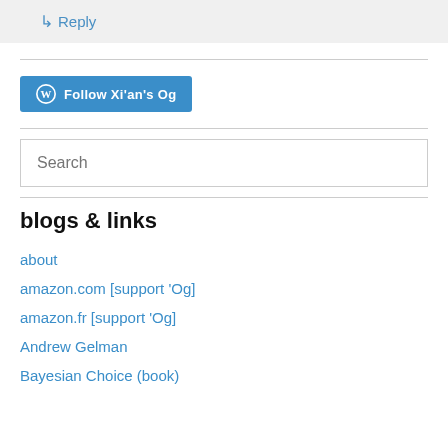↳ Reply
[Figure (other): WordPress Follow button with text 'Follow Xi'an's Og']
Search
blogs & links
about
amazon.com [support 'Og]
amazon.fr [support 'Og]
Andrew Gelman
Bayesian Choice (book)